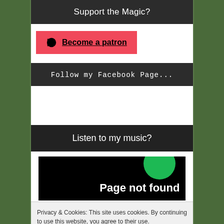Support the Magic?
[Figure (logo): Patreon button with Patreon icon and 'Become a patron' link on red/coral background]
Follow my Facebook Page...
Listen to my music?
[Figure (screenshot): Spotify embedded player showing 'Page not found' error with green circle logo on black background]
Privacy & Cookies: This site uses cookies. By continuing to use this website, you agree to their use.
To find out more, including how to control cookies, see here: Cookie Policy
Close and accept
Monster Compilation